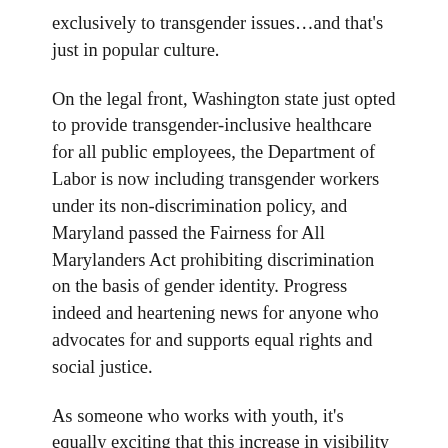exclusively to transgender issues…and that's just in popular culture.
On the legal front, Washington state just opted to provide transgender-inclusive healthcare for all public employees, the Department of Labor is now including transgender workers under its non-discrimination policy, and Maryland passed the Fairness for All Marylanders Act prohibiting discrimination on the basis of gender identity. Progress indeed and heartening news for anyone who advocates for and supports equal rights and social justice.
As someone who works with youth, it's equally exciting that this increase in visibility extends to young adult literature. Indeed, YA has been ahead of the curve. Luna, the first YA book to feature a transgender protagonist, was published over a